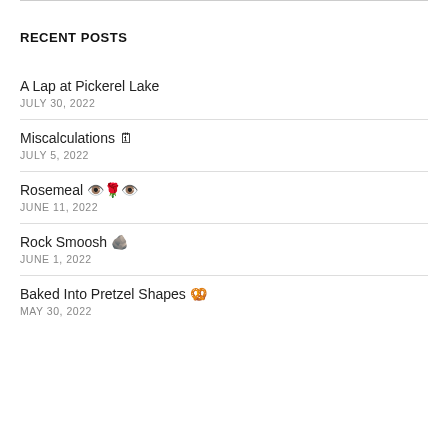RECENT POSTS
A Lap at Pickerel Lake
JULY 30, 2022
Miscalculations 🗓️
JULY 5, 2022
Rosemeal 👁️🌹👁️
JUNE 11, 2022
Rock Smoosh 🪨
JUNE 1, 2022
Baked Into Pretzel Shapes 🥨
MAY 30, 2022